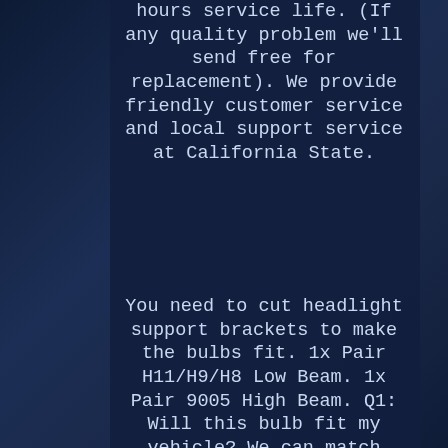hours service life. (If any quality problem we'll send free for replacement). We provide friendly customer service and local support service at California State.
You need to cut headlight support brackets to make the bulbs fit. 1x Pair H11/H9/H8 Low Beam. 1x Pair 9005 High Beam. Q1: Will this bulb fit my vehicle? We can match almost any vehicle to one of our bulb sizes.
Q2: My item has not arrived, what's taking so long? A: Sometimes items take longer than expected, especially if its going far or to rural area. Check with your post office to see if your item has been held up. If your item still has not arrived after